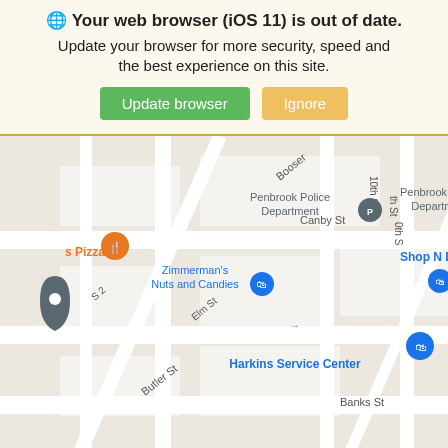🌐 Your web browser (iOS 11) is out of date. Update your browser for more security, speed and the best experience on this site.
Update browser | Ignore
[Figure (map): Google Maps screenshot showing street map with locations: Penbrook Police Department, Zimmerman's Nuts and Candies, Harkins Service Center, Shop N D, s Pizza. Streets include Canby St, Butler St, Elm St, Booser.]
[Figure (other): Chat button - blue circle with CHAT label and speech bubble tail, positioned over gray diagonal wedge in bottom right corner.]